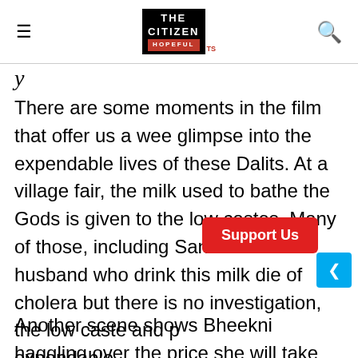THE CITIZEN IS HOPEFUL
There are some moments in the film that offer us a wee glimpse into the expendable lives of these Dalits. At a village fair, the milk used to bathe the Gods is given to the low castes. Many of those, including Sanichari's husband who drink this milk die of cholera but there is no investigation, the low caste and poor are expendable.
Another scene shows Bheekni haggling over the price she will take for crying when the patriarch